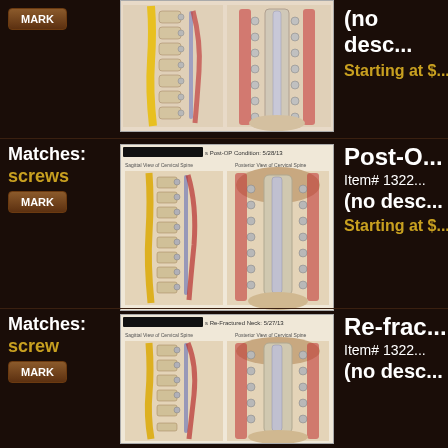Matches: screws
[Figure (illustration): Medical illustration of cervical spine post-op condition showing sagittal and posterior views with screws, rods, and hardware]
(no desc...)
Starting at $...
Matches: screws
[Figure (illustration): Medical illustration labeled Post-OP Condition: 5/28/13, Sagittal View of Cervical Spine and Posterior View of Cervical Spine with screws and hardware]
Post-O
Item# 1322
(no desc...
Starting at $...
Matches: screw
[Figure (illustration): Medical illustration labeled Re-Fractured Neck: 5/27/13, Sagittal View and Posterior View of Cervical Spine]
Re-frac...
Item# 1322
(no desc...